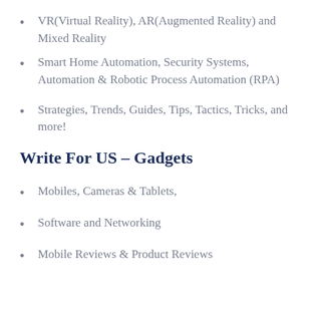VR(Virtual Reality), AR(Augmented Reality) and Mixed Reality
Smart Home Automation, Security Systems, Automation & Robotic Process Automation (RPA)
Strategies, Trends, Guides, Tips, Tactics, Tricks, and more!
Write For US – Gadgets
Mobiles, Cameras & Tablets,
Software and Networking
Mobile Reviews & Product Reviews